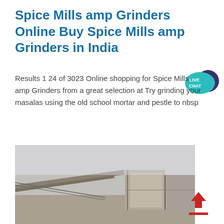Spice Mills amp Grinders Online Buy Spice Mills amp Grinders in India
[Figure (other): Live chat speech bubble icon — teal ellipse with 'LIVE CHAT' text and a dark purple decorative shape behind it]
Results 1 24 of 3023 Online shopping for Spice Mills amp Grinders from a great selection at Try grinding your masalas using the old school mortar and pestle to nbsp
[Figure (photo): Photograph of industrial stone grinding mill equipment outdoors in misty/foggy conditions, showing large stone or concrete machinery structures]
[Figure (other): Red upload/back-to-top arrow button icon with a horizontal red line beneath it]